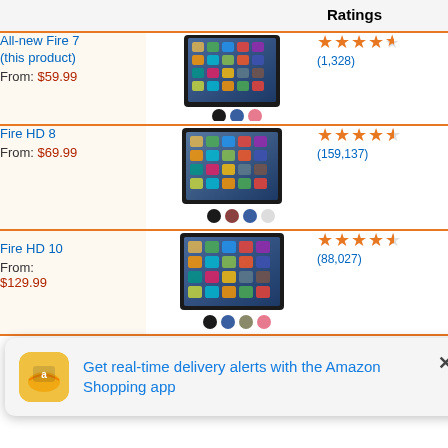| Product | Image | Ratings | Best for |
| --- | --- | --- | --- |
| All-new Fire 7 (this product)
From: $59.99 | [tablet image] | 4.5 stars (1,328) | For the family |
| Fire HD 8
From: $69.99 | [tablet image] | 4.5 stars (159,137) | Portable entertainment |
| Fire HD 10
From: $129.99 | [tablet image] | 4.5 stars (88,027) | Widescreen entertainment |
| Kids | [tablet image] | stars (264) | age |
Get real-time delivery alerts with the Amazon Shopping app